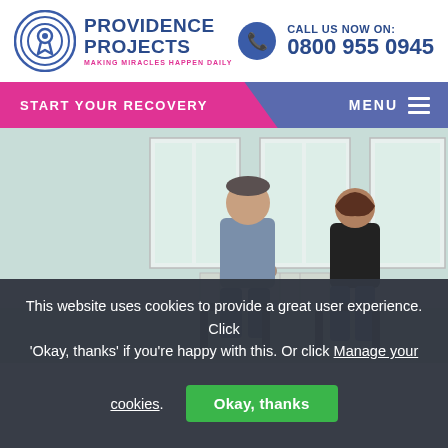Providence Projects — Making Miracles Happen Daily | Call Us Now On: 0800 955 0945
START YOUR RECOVERY | MENU
[Figure (photo): A counselling session: two people (a man in a grey sweater and a woman in black) seated on chairs facing each other in a bright room with large windows. A blue vertical bar is on the left side of the image.]
This website uses cookies to provide a great user experience. Click 'Okay, thanks' if you're happy with this. Or click Manage your cookies.